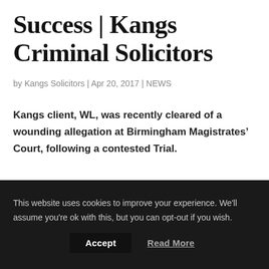Success | Kangs Criminal Solicitors
by Kangs Solicitors | Apr 20, 2017 | NEWS
Kangs client, WL, was recently cleared of a wounding allegation at Birmingham Magistrates’ Court, following a contested Trial.
This website uses cookies to improve your experience. We’ll assume you’re ok with this, but you can opt-out if you wish.
Accept   Read More